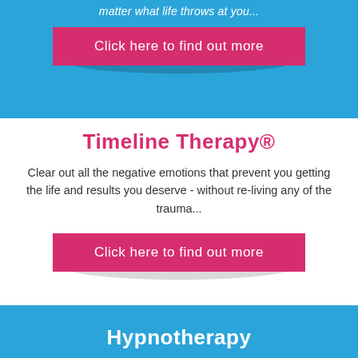matter what life throws at you...
Click here to find out more
Timeline Therapy®
Clear out all the negative emotions that prevent you getting the life and results you deserve - without re-living any of the trauma...
Click here to find out more
Hypnotherapy